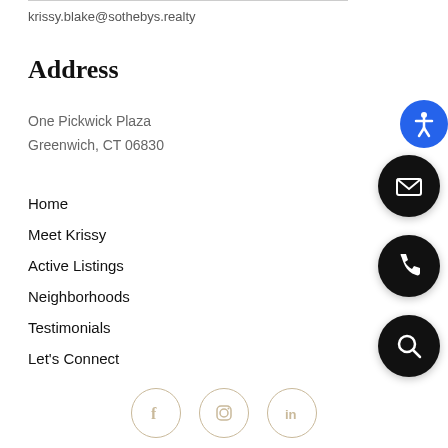krissy.blake@sothebys.realty
Address
One Pickwick Plaza
Greenwich, CT 06830
Home
Meet Krissy
Active Listings
Neighborhoods
Testimonials
Let's Connect
[Figure (illustration): Social media icons: Facebook, Instagram, LinkedIn in circular outlines with tan/gold border]
[Figure (illustration): Accessibility button (blue circle with person icon), Email button (black circle with envelope), Phone button (black circle with phone), Search button (black circle with magnifying glass)]